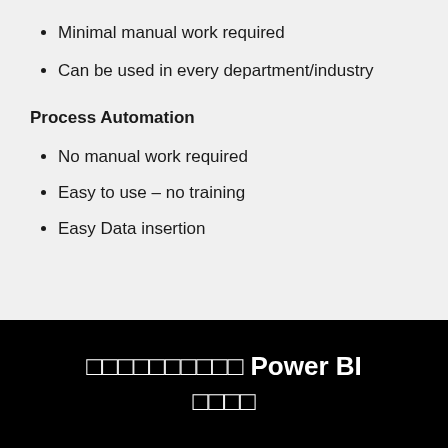Minimal manual work required
Can be used in every department/industry
Process Automation
No manual work required
Easy to use – no training
Easy Data insertion
□□□□□□□□□□ Power BI □□□□